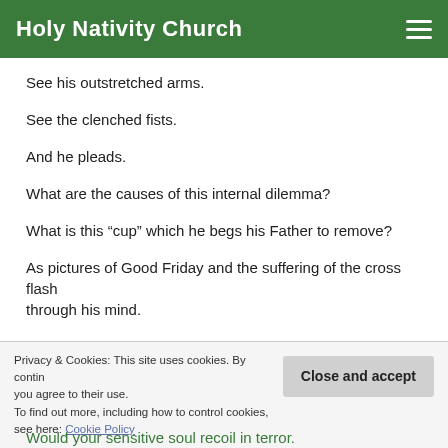Holy Nativity Church
See his outstretched arms.
See the clenched fists.
And he pleads.
What are the causes of this internal dilemma?
What is this “cup” which he begs his Father to remove?
As pictures of Good Friday and the suffering of the cross flash through his mind.
Privacy & Cookies: This site uses cookies. By continuing to use this website, you agree to their use.
To find out more, including how to control cookies, see here: Cookie Policy
Would your sensitive soul recoil in terror.